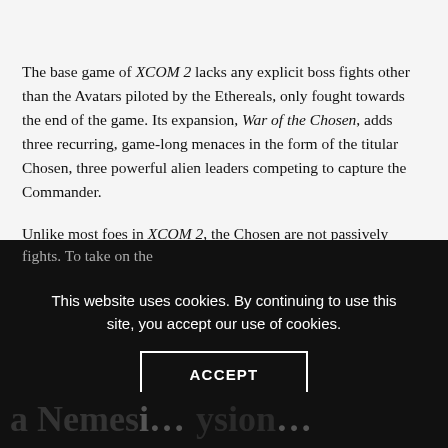The base game of XCOM 2 lacks any explicit boss fights other than the Avatars piloted by the Ethereals, only fought towards the end of the game. Its expansion, War of the Chosen, adds three recurring, game-long menaces in the form of the titular Chosen, three powerful alien leaders competing to capture the Commander.
Unlike most foes in XCOM 2, the Chosen are not passively waiting for the Commander to attack a target. They go on missions of their own around the map, interfering in the player's strategies and even appearing in missions for increasingly difficult boss fights. To take on the…
This website uses cookies. By continuing to use this site, you accept our use of cookies.
ACCEPT
a Nemesi… …ysion…